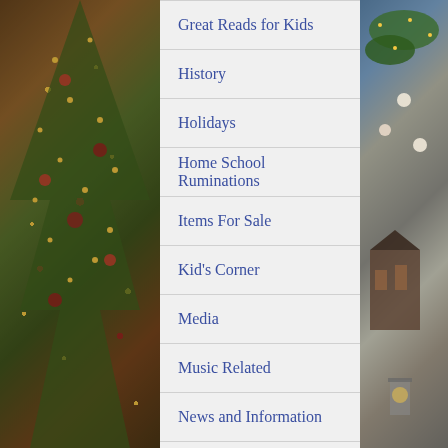[Figure (photo): Christmas tree with lights, red ornaments and decorations on the left side background]
Great Reads for Kids
History
Holidays
Home School Ruminations
Items For Sale
Kid's Corner
Media
Music Related
News and Information
Our Library
[Figure (photo): Christmas decorations with a miniature village scene, greenery, lights, and ornaments on the right side background]